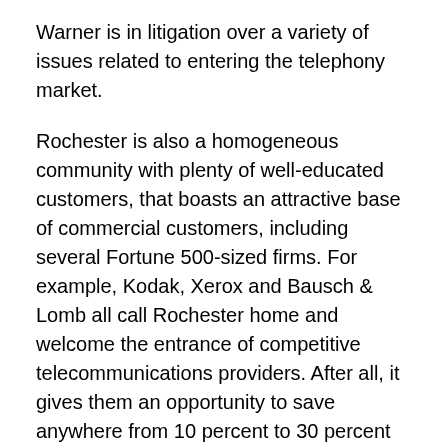Warner is in litigation over a variety of issues related to entering the telephony market.
Rochester is also a homogeneous community with plenty of well-educated customers, that boasts an attractive base of commercial customers, including several Fortune 500-sized firms. For example, Kodak, Xerox and Bausch & Lomb all call Rochester home and welcome the entrance of competitive telecommunications providers. After all, it gives them an opportunity to save anywhere from 10 percent to 30 percent on their telephone bills by going to a competitor.
Finally, the Rochester core system recently underwent a major upgrade that took it from a 330-MHz network (in some older pockets, the system